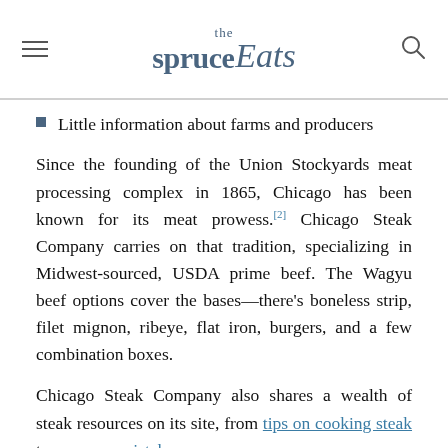the spruce Eats
Little information about farms and producers
Since the founding of the Union Stockyards meat processing complex in 1865, Chicago has been known for its meat prowess.[2] Chicago Steak Company carries on that tradition, specializing in Midwest-sourced, USDA prime beef. The Wagyu beef options cover the bases—there's boneless strip, filet mignon, ribeye, flat iron, burgers, and a few combination boxes.
Chicago Steak Company also shares a wealth of steak resources on its site, from tips on cooking steak to common mistakes